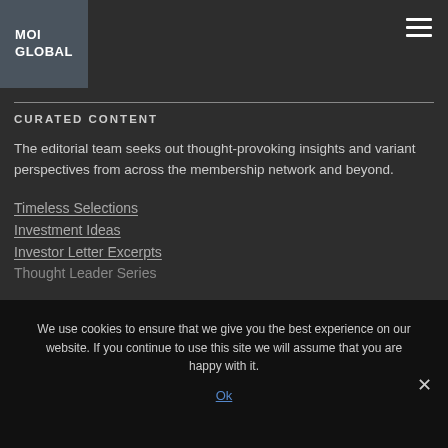[Figure (logo): MOI Global logo — dark grey square with white bold text 'MOI GLOBAL']
MOI Global navigation header with hamburger menu icon
CURATED CONTENT
The editorial team seeks out thought-provoking insights and variant perspectives from across the membership network and beyond.
Timeless Selections
Investment Ideas
Investor Letter Excerpts
Thought Leader Series
We use cookies to ensure that we give you the best experience on our website. If you continue to use this site we will assume that you are happy with it.
Ok